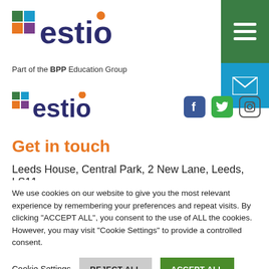[Figure (logo): Estio logo with coloured squares and text, top navigation area with green hamburger menu and blue email button]
Part of the BPP Education Group
[Figure (logo): Estio logo (second instance) with social media icons for Facebook, Twitter, Instagram]
Get in touch
Leeds House, Central Park, 2 New Lane, Leeds, LS11
We use cookies on our website to give you the most relevant experience by remembering your preferences and repeat visits. By clicking "ACCEPT ALL", you consent to the use of ALL the cookies. However, you may visit "Cookie Settings" to provide a controlled consent.
Cookie Settings   REJECT ALL   ACCEPT ALL